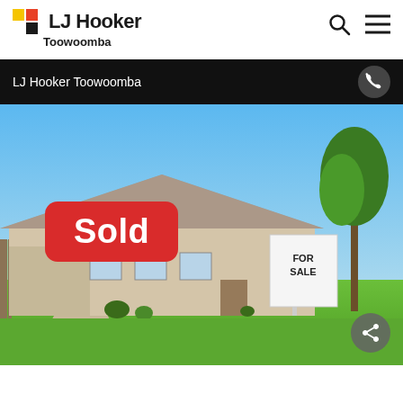[Figure (logo): LJ Hooker logo with yellow and red squares, text 'LJ Hooker' and 'Toowoomba' below]
LJ Hooker Toowoomba
[Figure (photo): Exterior photo of a brick suburban house with a blue sky, green lawn, and a FOR SALE sign. A red 'Sold' badge is overlaid on the image.]